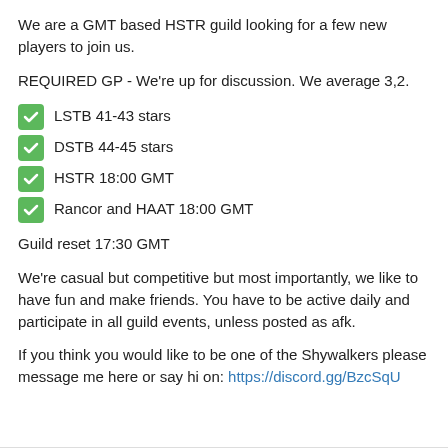We are a GMT based HSTR guild looking for a few new players to join us.
REQUIRED GP - We're up for discussion. We average 3,2.
LSTB 41-43 stars
DSTB 44-45 stars
HSTR 18:00 GMT
Rancor and HAAT 18:00 GMT
Guild reset 17:30 GMT
We're casual but competitive but most importantly, we like to have fun and make friends. You have to be active daily and participate in all guild events, unless posted as afk.
If you think you would like to be one of the Shywalkers please message me here or say hi on: https://discord.gg/BzcSqU